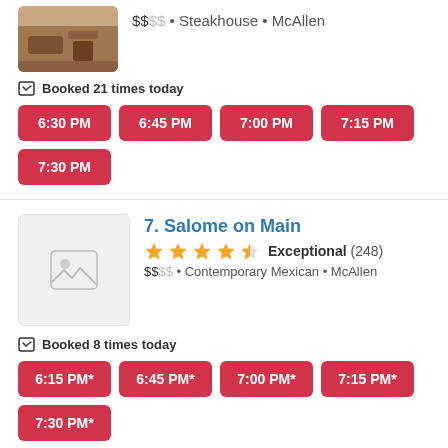[Figure (photo): Food photo thumbnail of steakhouse dish]
$$SS • Steakhouse • McAllen
Booked 21 times today
6:30 PM
6:45 PM
7:00 PM
7:15 PM
7:30 PM
7. Salome on Main
Exceptional (248)
$$SS • Contemporary Mexican • McAllen
Booked 8 times today
6:15 PM*
6:45 PM*
7:00 PM*
7:15 PM*
7:30 PM*